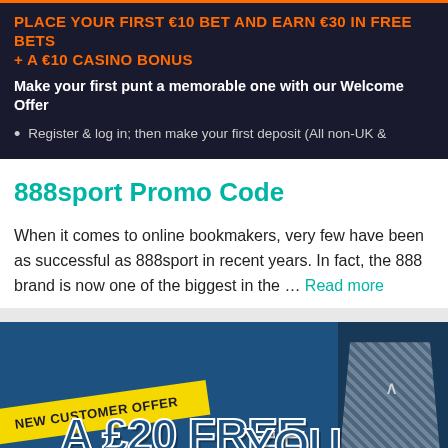PLACE YOUR FIRST €10 BET AND EARN €30 IN FREE BETS + A €10 CASINO BONUS
Make your first punt a memorable one with our Welcome Offer
Register & log in; then make your first deposit (All non-UK &
888sport Promo Code
When it comes to online bookmakers, very few have been as successful as 888sport in recent years. In fact, the 888 brand is now one of the biggest in the … Read more
[Figure (photo): 888sport new customer offer banner showing yellow ribbon with 'NEW CUSTOMER OFFER' text, large text '£20 FREE' and 'YOU' partially visible, on a blue background with an athlete in sports jersey on the right side]